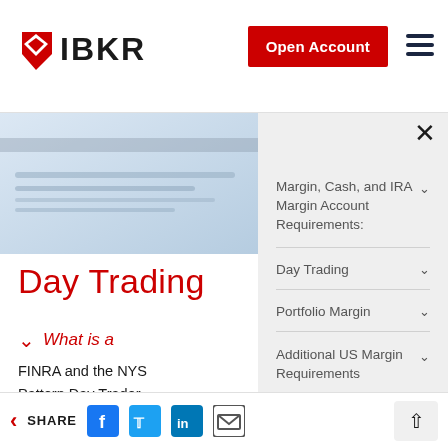IBKR — Open Account
[Figure (photo): Blurred background image of financial documents or charts, fading from light blue-grey tones]
Day Trading
What is a
FINRA and the NYS
Pattern Day Trader
effects four or more
(same day opening
Margin, Cash, and IRA Margin Account Requirements:
Day Trading
Portfolio Margin
Additional US Margin Requirements
Further Reading
SHARE